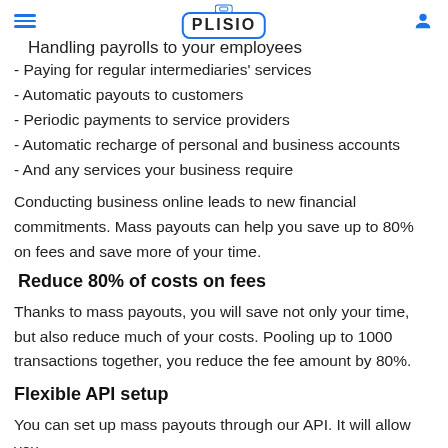Handling payrolls to your employees | PLISIO
- Paying for regular intermediaries' services
- Automatic payouts to customers
- Periodic payments to service providers
- Automatic recharge of personal and business accounts
- And any services your business require
Conducting business online leads to new financial commitments. Mass payouts can help you save up to 80% on fees and save more of your time.
Reduce 80% of costs on fees
Thanks to mass payouts, you will save not only your time, but also reduce much of your costs. Pooling up to 1000 transactions together, you reduce the fee amount by 80%.
Flexible API setup
You can set up mass payouts through our API. It will allow you